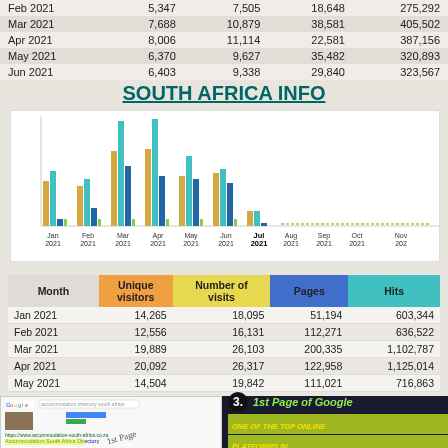| Month | Unique visitors | Number of visits | Pages | Hits |
| --- | --- | --- | --- | --- |
| Feb 2021 | 5,347 | 7,505 | 18,648 | 275,292 |
| Mar 2021 | 7,688 | 10,879 | 38,581 | 405,502 |
| Apr 2021 | 8,006 | 11,114 | 22,581 | 387,156 |
| May 2021 | 6,370 | 9,627 | 35,482 | 320,893 |
| Jun 2021 | 6,403 | 9,338 | 29,840 | 323,567 |
SOUTH AFRICA INFO
[Figure (grouped-bar-chart): South Africa Info - Monthly Stats]
| Month | Unique visitors | Number of visits | Pages | Hits |
| --- | --- | --- | --- | --- |
| Jan 2021 | 14,265 | 18,095 | 51,194 | 603,344 |
| Feb 2021 | 12,556 | 16,131 | 112,271 | 636,522 |
| Mar 2021 | 19,889 | 26,103 | 200,335 | 1,102,787 |
| Apr 2021 | 20,092 | 26,317 | 122,958 | 1,125,014 |
| May 2021 | 14,504 | 19,842 | 111,021 | 716,863 |
| Jun 2021 | 15,254 | 20,475 | 96,745 | 731,177 |
[Figure (screenshot): Google search result showing Accommodation South Africa Directory as 1st page result, with '1st Page' handwritten annotation]
3.  1st Page of Google — ONE OF THE TOP ONLINE PLATFORMS IN...